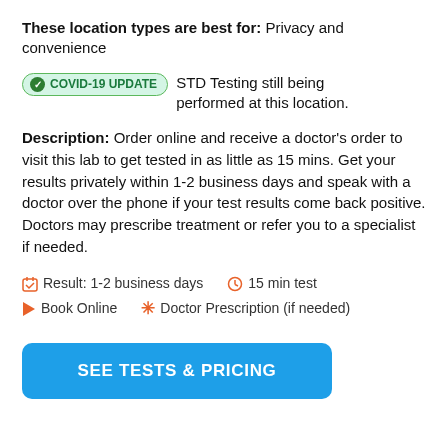These location types are best for: Privacy and convenience
COVID-19 UPDATE  STD Testing still being performed at this location.
Description: Order online and receive a doctor's order to visit this lab to get tested in as little as 15 mins. Get your results privately within 1-2 business days and speak with a doctor over the phone if your test results come back positive. Doctors may prescribe treatment or refer you to a specialist if needed.
Result: 1-2 business days   15 min test
Book Online   Doctor Prescription (if needed)
SEE TESTS & PRICING